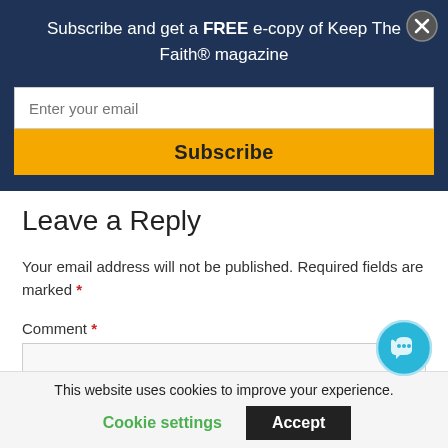Subscribe and get a FREE e-copy of Keep The Faith® magazine
[Figure (screenshot): Email input field with placeholder text 'Enter your email']
[Figure (screenshot): Yellow Subscribe button]
Leave a Reply
Your email address will not be published. Required fields are marked *
Comment *
[Figure (screenshot): Comment textarea input box]
This website uses cookies to improve your experience.
Cookie settings   Accept